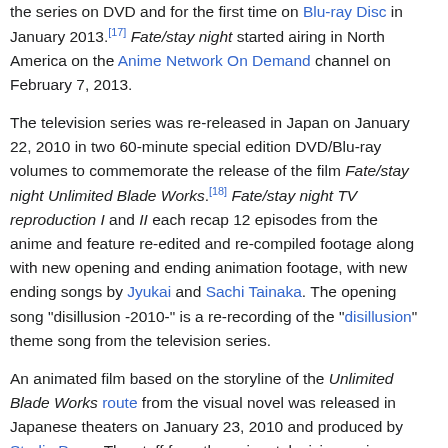the series on DVD and for the first time on Blu-ray Disc in January 2013.[17] Fate/stay night started airing in North America on the Anime Network On Demand channel on February 7, 2013.
The television series was re-released in Japan on January 22, 2010 in two 60-minute special edition DVD/Blu-ray volumes to commemorate the release of the film Fate/stay night Unlimited Blade Works.[18] Fate/stay night TV reproduction I and II each recap 12 episodes from the anime and feature re-edited and re-compiled footage along with new opening and ending animation footage, with new ending songs by Jyukai and Sachi Tainaka. The opening song "disillusion -2010-" is a re-recording of the "disillusion" theme song from the television series.
An animated film based on the storyline of the Unlimited Blade Works route from the visual novel was released in Japanese theaters on January 23, 2010 and produced by Studio Deen. The staff from the anime television series, including director Yuji Yamaguchi, returned to work on the film, with most of the voice cast reprising their roles.[19] The film earned 280 million yen at the Japanese box office.[20] Sentai Filmworks has licensed the Unlimited Blade Works film and released it on DVD and Blu-ray. As